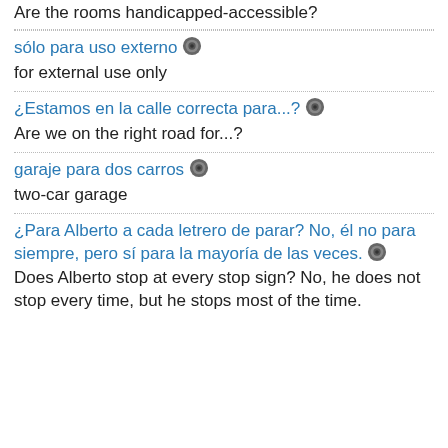Are the rooms handicapped-accessible?
sólo para uso externo
for external use only
¿Estamos en la calle correcta para...?
Are we on the right road for...?
garaje para dos carros
two-car garage
¿Para Alberto a cada letrero de parar? No, él no para siempre, pero sí para la mayoría de las veces.
Does Alberto stop at every stop sign? No, he does not stop every time, but he stops most of the time.